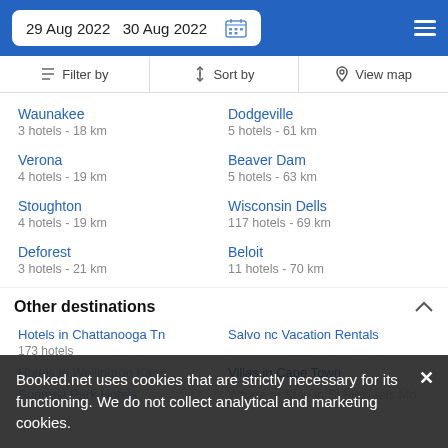29 Aug 2022  30 Aug 2022
Filter by  |  Sort by  |  View map
Waunakee
3 hotels - 18 km
Dodgeville
5 hotels - 61 km
Verona
4 hotels - 19 km
Beaver Dam
5 hotels - 63 km
Stoughton
4 hotels - 19 km
Wisconsin Dells
117 hotels - 69 km
Deforest
3 hotels - 21 km
Beloit
11 hotels - 70 km
Other destinations
Hotels in Chattanooga Tn
173 hotels
Salvo nc Vacation Rentals
Hotels in Wellington Kans...
Villas in Cape Town
Where to Stay in St Michaels Md
Suntrust Park Hotels
Hotels Atlantic Highlands Nj
Booked.net uses cookies that are strictly necessary for its functioning. We do not collect analytical and marketing cookies.